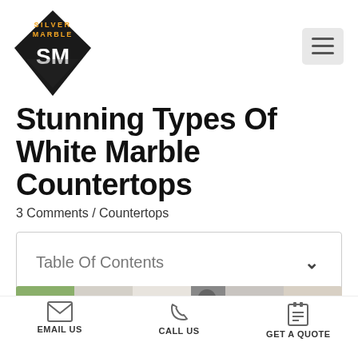[Figure (logo): Silver Marble SM logo — diamond shape, dark background, orange text SILVER MARBLE, white SM letters]
Stunning Types Of White Marble Countertops
3 Comments / Countertops
Table Of Contents
[Figure (photo): Partial image of marble countertop / kitchen scene cropped at bottom of page]
EMAIL US   CALL US   GET A QUOTE